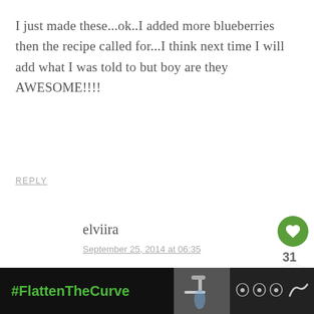I just made these...ok..I added more blueberries then the recipe called for...I think next time I will add what I was told to but boy are they AWESOME!!!!
REPLY
elviira
September 25, 2014 at 06:35
Hi Nancy and thanks for your comment! So great that you liked them!
REPLY
[Figure (infographic): #FlattenTheCurve advertisement bar with handwashing image, close button, and share icons on dark background]